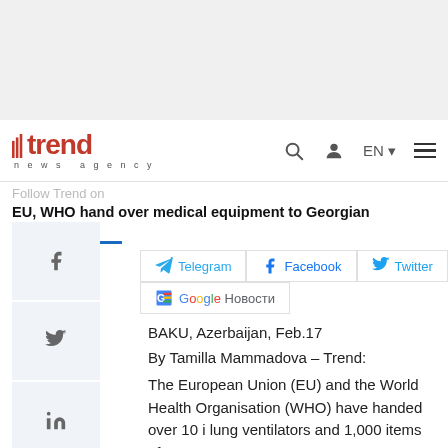[Figure (logo): Trend News Agency logo with red 'trend' text and 'news agency' subtitle, plus navigation icons (search, user, EN dropdown, hamburger menu)]
Follow Trend on
EU, WHO hand over medical equipment to Georgian Republic...
Telegram  Facebook  Twitter  Google Новости
BAKU, Azerbaijan, Feb.17
By Tamilla Mammadova – Trend:
The European Union (EU) and the World Health Organisation (WHO) have handed over 10 i lung ventilators and 1,000 items of